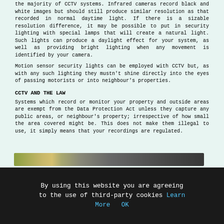the majority of CCTV systems. Infrared cameras record black and white images but should still produce similar resolution as that recorded in normal daytime light. If there is a sizable resolution difference, it may be possible to put in security lighting with special lamps that will create a natural light. Such lights can produce a daylight effect for your system, as well as providing bright lighting when any movement is identified by your camera.
Motion sensor security lights can be employed with CCTV but, as with any such lighting they mustn't shine directly into the eyes of passing motorists or into neighbour's properties.
CCTV AND THE LAW
Systems which record or monitor your property and outside areas are exempt from the Data Protection Act unless they capture any public areas, or neighbour's property; irrespective of how small the area covered might be. This does not make them illegal to use, it simply means that your recordings are regulated.
The ICO
[Figure (photo): Partial view of a photo strip showing outdoor/nature scene with muted green and grey tones]
By using this website you are agreeing to the use of third-party cookies Learn More OK